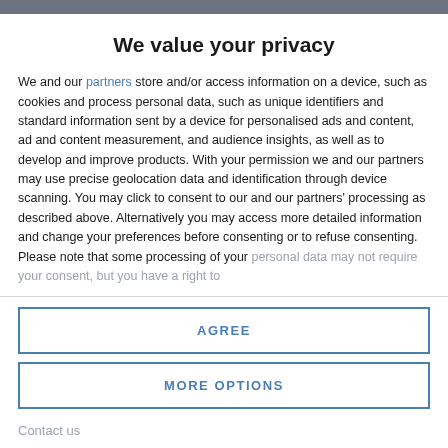We value your privacy
We and our partners store and/or access information on a device, such as cookies and process personal data, such as unique identifiers and standard information sent by a device for personalised ads and content, ad and content measurement, and audience insights, as well as to develop and improve products. With your permission we and our partners may use precise geolocation data and identification through device scanning. You may click to consent to our and our partners' processing as described above. Alternatively you may access more detailed information and change your preferences before consenting or to refuse consenting. Please note that some processing of your personal data may not require your consent, but you have a right to
AGREE
MORE OPTIONS
Contact us